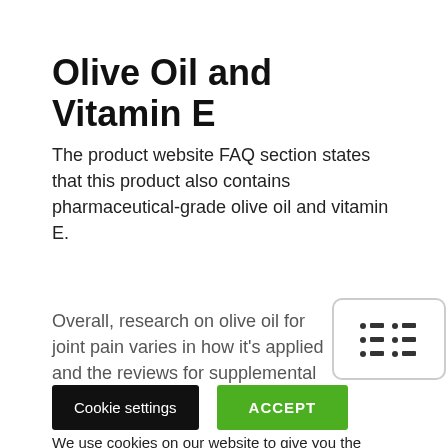Olive Oil and Vitamin E
The product website FAQ section states that this product also contains pharmaceutical-grade olive oil and vitamin E.
Overall, research on olive oil for joint pain varies in how it's applied and the reviews for supplemental
[Figure (other): Table of contents / list icon — rounded rectangle with two-column bullet list icon]
Cookie Bar
We use cookies on our website to give you the most relevant experience by remembering your preferences and repeat visits. By clicking “Accept”, you consent to the use of ALL the cookies.
Cookie settings
ACCEPT